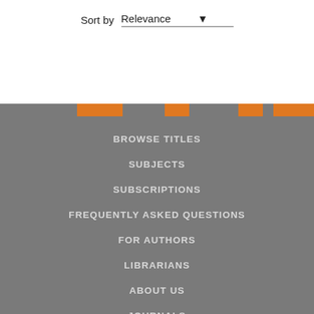Sort by  Relevance
BROWSE TITLES
SUBJECTS
SUBSCRIPTIONS
FREQUENTLY ASKED QUESTIONS
FOR AUTHORS
LIBRARIANS
ABOUT US
JOURNALS
TERMS OF USE